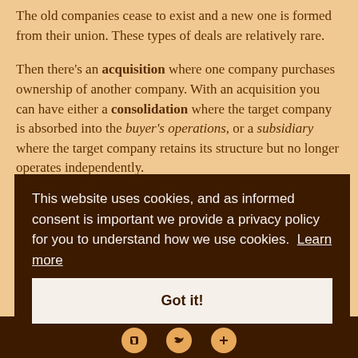The old companies cease to exist and a new one is formed from their union. These types of deals are relatively rare.
Then there's an acquisition where one company purchases ownership of another company. With an acquisition you can have either a consolidation where the target company is absorbed into the buyer's operations, or a subsidiary where the target company retains its structure but no longer operates independently.
This website uses cookies, and as informed consent is important we provide a privacy policy for you to understand how we use cookies. Learn more
Got it!
What is the Mergers and Acquisitions Strategy in